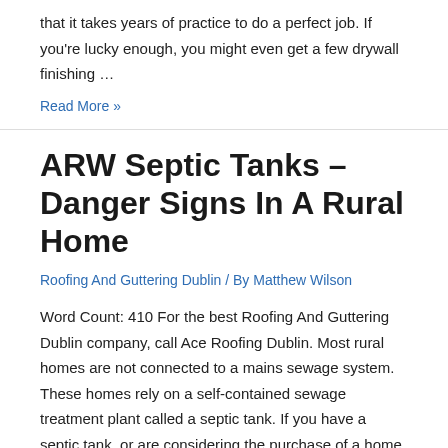that it takes years of practice to do a perfect job. If you're lucky enough, you might even get a few drywall finishing …
Read More »
ARW Septic Tanks – Danger Signs In A Rural Home
Roofing And Guttering Dublin / By Matthew Wilson
Word Count: 410 For the best Roofing And Guttering Dublin company, call Ace Roofing Dublin. Most rural homes are not connected to a mains sewage system. These homes rely on a self-contained sewage treatment plant called a septic tank. If you have a septic tank, or are considering the purchase of a home with one, …
Read More »